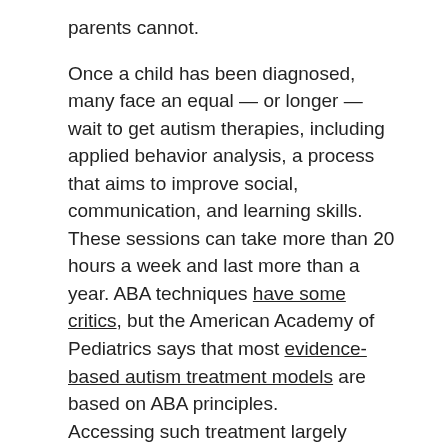parents cannot.
Once a child has been diagnosed, many face an equal — or longer — wait to get autism therapies, including applied behavior analysis, a process that aims to improve social, communication, and learning skills. These sessions can take more than 20 hours a week and last more than a year. ABA techniques have some critics, but the American Academy of Pediatrics says that most evidence-based autism treatment models are based on ABA principles.
Accessing such treatment largely depends on insurance coverage — and for many families how well Medicaid pays. The Georgia Medicaid program reimburses well for ABA, Georgia doctors said, while Missouri's pay is low, leading to a scarcity of options there, Sohl said.
I now know what caused my autism, which changes